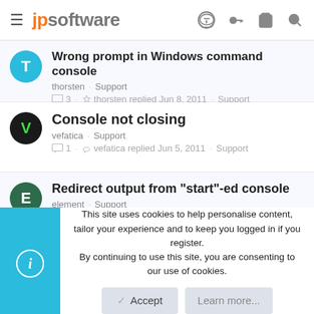jpsoftware
Wrong prompt in Windows command console
thorsten · Support
3 · thorsten replied Jun 8, 2011 · Support
Console not closing
vefatica · Support
1 · vefatica replied Jun 5, 2011 · Support
Redirect output from "start"-ed console
element · Support
5 · David Marcus replied Apr 29, 2011 · Support
This site uses cookies to help personalise content, tailor your experience and to keep you logged in if you register.
By continuing to use this site, you are consenting to our use of cookies.